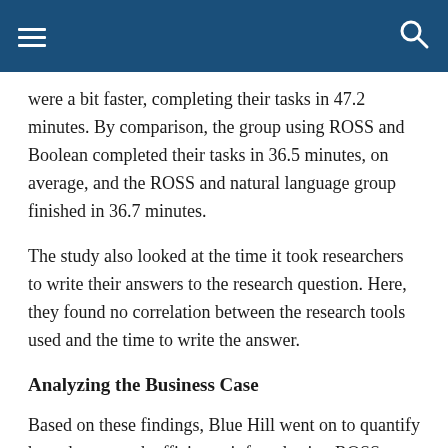were a bit faster, completing their tasks in 47.2 minutes. By comparison, the group using ROSS and Boolean completed their tasks in 36.5 minutes, on average, and the ROSS and natural language group finished in 36.7 minutes.
The study also looked at the time it took researchers to write their answers to the research question. Here, they found no correlation between the research tools used and the time to write the answer.
Analyzing the Business Case
Based on these findings, Blue Hill went on to quantify how the research efficiency it found using ROSS would impact the bottom line for law firms and legal